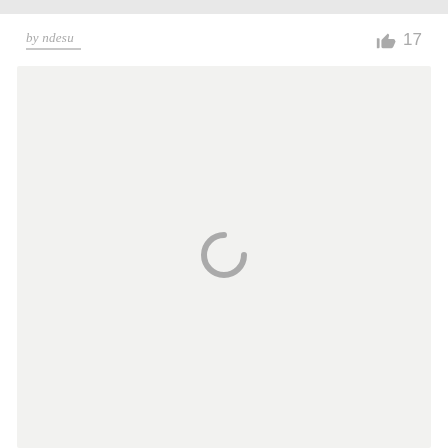by ndesu
17
[Figure (other): Loading spinner (circular arc) inside a light gray content area]